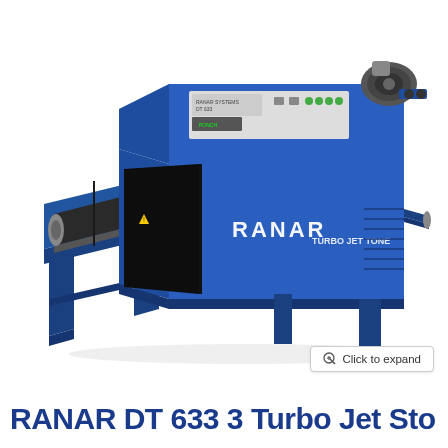[Figure (photo): A blue industrial conveyor dryer machine labeled RANAR with TURBO JET TONE branding, featuring a control panel on top, a conveyor belt extending to the left, and tubular motor/fan assembly on top right. The machine stands on blue metal legs.]
Click to expand
RANAR DT 633 3 Turbo Jet Sto...